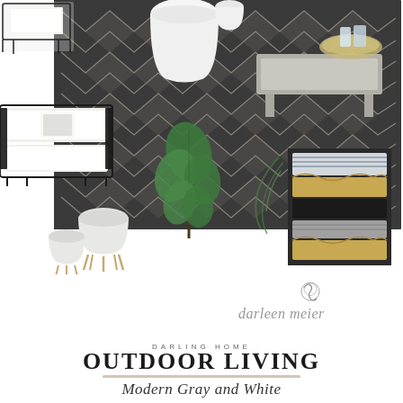[Figure (photo): Interior design mood board showing outdoor living furniture and accessories in modern gray and white palette. Includes black metal chairs and sofa with white cushions, a dark geometric diamond-pattern area rug, white ceramic planters on wooden legs, a large tropical green plant, a concrete coffee table, woven tray with glassware, and a stack of assorted outdoor throw pillows in gray, black, tan/gold, and striped patterns.]
[Figure (logo): Darleen Meier brand logo: decorative monogram symbol above the script text 'darleen meier' in gray italic font.]
DARLING HOME
Outdoor Living
Modern Gray and White